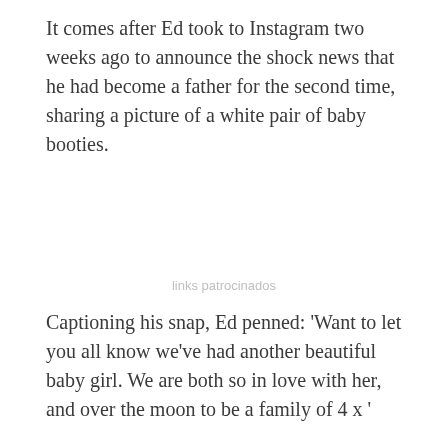It comes after Ed took to Instagram two weeks ago to announce the shock news that he had become a father for the second time, sharing a picture of a white pair of baby booties.
links patrocinados
Captioning his snap, Ed penned: 'Want to let you all know we've had another beautiful baby girl. We are both so in love with her, and over the moon to be a family of 4 x '
[Figure (photo): Two men standing outside a cafe called DAYROOMS CAFE W11. The man on the left is heavyset, wearing an olive/dark green North Face zip-up jacket. The man on the right has ginger/auburn hair and is wearing a black t-shirt. A third person is partially visible on the far right.]